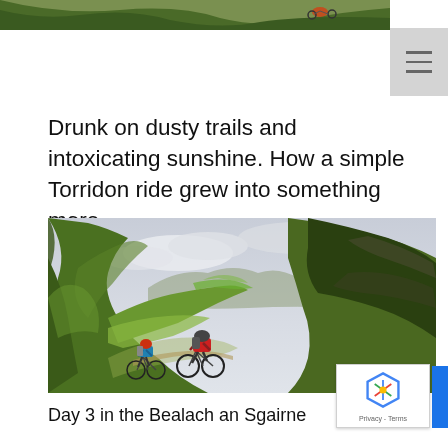[Figure (photo): Partial top image — mountain bikers on a trail, cropped, only bottom edge visible]
Drunk on dusty trails and intoxicating sunshine. How a simple Torridon ride grew into something more...
[Figure (photo): Two mountain bikers riding down a steep green valley trail in the Scottish Highlands, with dramatic green hillsides and cloudy sky. Day 3 in the Bealach an Sgairne.]
Day 3 in the Bealach an Sgairne